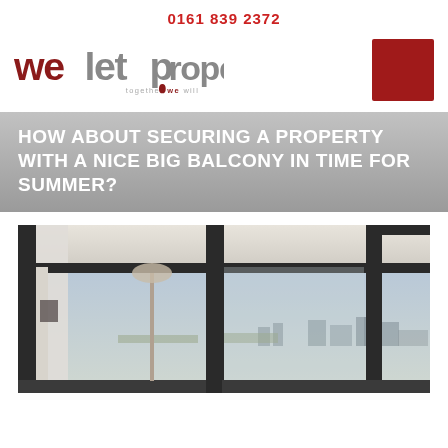0161 839 2372
[Figure (logo): We Let Properties logo with tagline 'together we will']
HOW ABOUT SECURING A PROPERTY WITH A NICE BIG BALCONY IN TIME FOR SUMMER?
[Figure (photo): Interior photo of a high-rise apartment with large floor-to-ceiling glass windows/sliding doors looking out over a city skyline, with a floor lamp and curtains visible inside]